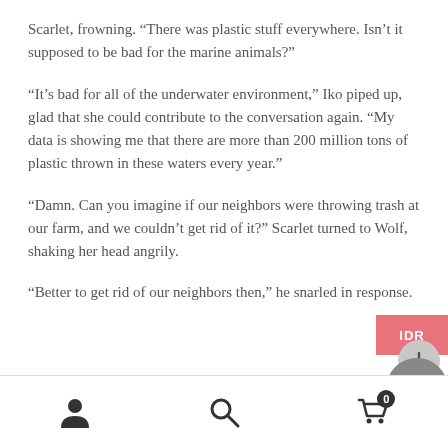Scarlet, frowning. “There was plastic stuff everywhere. Isn’t it supposed to be bad for the marine animals?”
“It’s bad for all of the underwater environment,” Iko piped up, glad that she could contribute to the conversation again. “My data is showing me that there are more than 200 million tons of plastic thrown in these waters every year.”
“Damn. Can you imagine if our neighbors were throwing trash at our farm, and we couldn’t get rid of it?” Scarlet turned to Wolf, shaking her head angrily.
“Better to get rid of our neighbors then,” he snarled in response.